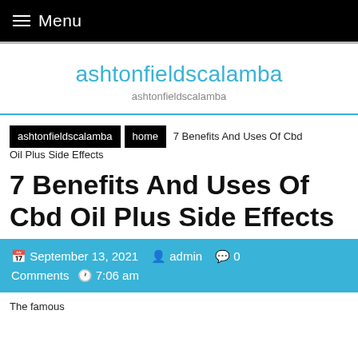≡ Menu
ashtonfieldscalamba
ashtonfieldscalamba
ashtonfieldscalamba  home  7 Benefits And Uses Of Cbd Oil Plus Side Effects
7 Benefits And Uses Of Cbd Oil Plus Side Effects
September 13, 2021  admin  0 Comments  7:06 am
The famous